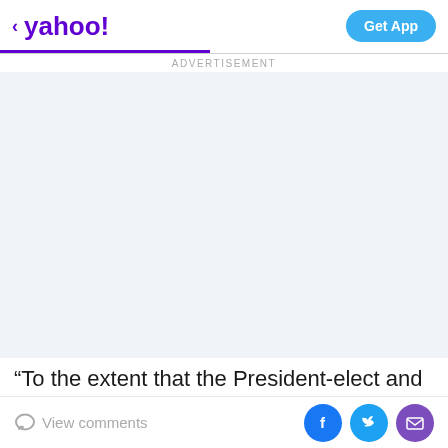yahoo! | Get App
ADVERTISEMENT
[Figure (other): Advertisement placeholder area with light blue-grey background]
“To the extent that the President-elect and the Republican majority pursue policies that help Americans
View comments | Facebook | Twitter | Mail